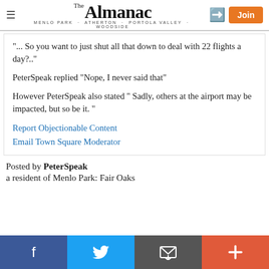The Almanac — MENLO PARK · ATHERTON · PORTOLA VALLEY · WOODSIDE
"... So you want to just shut all that down to deal with 22 flights a day?.."
PeterSpeak replied "Nope, I never said that"
However PeterSpeak also stated " Sadly, others at the airport may be impacted, but so be it. "
Report Objectionable Content
Email Town Square Moderator
Posted by PeterSpeak
a resident of Menlo Park: Fair Oaks